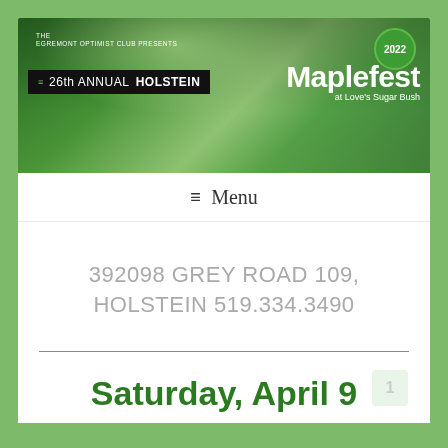[Figure (illustration): Banner for the 26th Annual Holstein Maplefest 2022 at Love's Sugar Bush, presented by the Egremont Optimist Club. Green forest background with event title text and a 2022 circular badge.]
≡ Menu
392098 GREY ROAD 109, HOLSTEIN 519.334.3490
Saturday, April 9